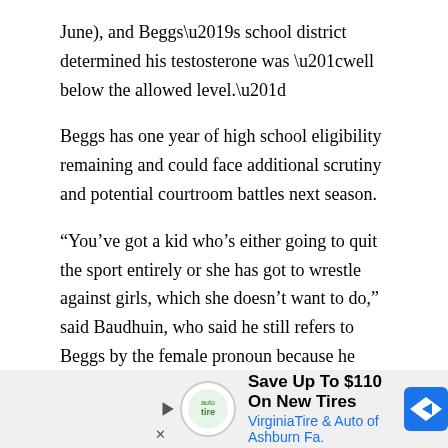June), and Beggs’s school district determined his testosterone was “well below the allowed level.”
Beggs has one year of high school eligibility remaining and could face additional scrutiny and potential courtroom battles next season.
“You’ve got a kid who’s either going to quit the sport entirely or she has got to wrestle against girls, which she doesn’t want to do,” said Baudhuin, who said he still refers to Beggs by the female pronoun because he struggles to see his daughter’s old friend as a boy. “She’s in a no-win situation.”
Mixed messages
[Figure (other): Advertisement banner: Save Up To $110 On New Tires — VirginiaTire & Auto of Ashburn Fa.]